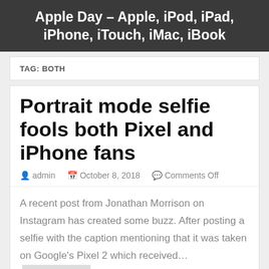Apple Day – Apple, iPod, iPad, iPhone, iTouch, iMac, iBook
TAG: BOTH
Portrait mode selfie fools both Pixel and iPhone fans
admin   October 8, 2018   Comments Off
A recent post from Jonathan Morrison on Instagram has created some buzz. After posting a selfie with the caption mentioning that it was taken on Google's Pixel 2 which received… Read more »